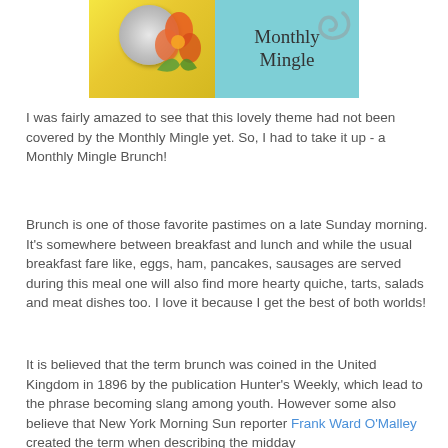[Figure (photo): Monthly Mingle banner image: left half shows a yellow background with a plate/cutlery and orange flower decoration; right half shows a light blue background with the text 'Monthly Mingle' in cursive and a swirl/cup graphic.]
I was fairly amazed to see that this lovely theme had not been covered by the Monthly Mingle yet. So, I had to take it up - a Monthly Mingle Brunch!
Brunch is one of those favorite pastimes on a late Sunday morning. It's somewhere between breakfast and lunch and while the usual breakfast fare like, eggs, ham, pancakes, sausages are served during this meal one will also find more hearty quiche, tarts, salads and meat dishes too. I love it because I get the best of both worlds!
It is believed that the term brunch was coined in the United Kingdom in 1896 by the publication Hunter's Weekly, which lead to the phrase becoming slang among youth. However some also believe that New York Morning Sun reporter Frank Ward O'Malley created the term when describing the midday